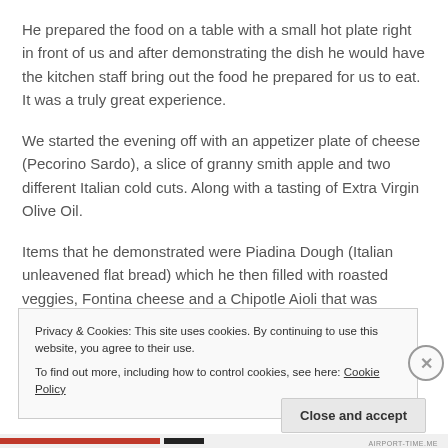He prepared the food on a table with a small hot plate right in front of us and after demonstrating the dish he would have the kitchen staff bring out the food he prepared for us to eat.  It was a truly great experience.
We started the evening off with an appetizer plate of cheese (Pecorino Sardo), a slice of granny smith apple and two different Italian cold cuts. Along with a tasting of Extra Virgin Olive Oil.
Items that he demonstrated were Piadina Dough (Italian unleavened flat bread) which he then filled with roasted veggies, Fontina cheese and a Chipotle Aioli that was
Privacy & Cookies: This site uses cookies. By continuing to use this website, you agree to their use.
To find out more, including how to control cookies, see here: Cookie Policy